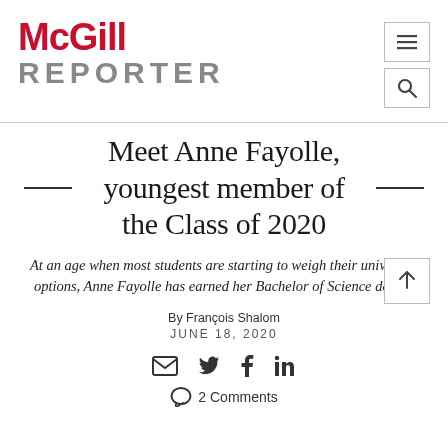McGill REPORTER
Meet Anne Fayolle, youngest member of the Class of 2020
At an age when most students are starting to weigh their university options, Anne Fayolle has earned her Bachelor of Science degree
By François Shalom
JUNE 18, 2020
2 Comments